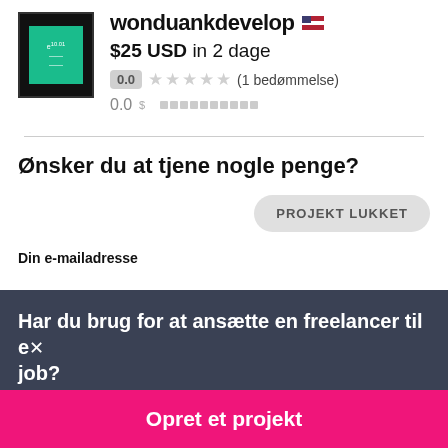[Figure (screenshot): User profile avatar: dark-bordered box with green inner panel and small white text]
wonduankdevelop
$25 USD in 2 dage
0.0 ★★★★★ (1 bedømmelse)
0.0 $
Ønsker du at tjene nogle penge?
PROJEKT LUKKET
Din e-mailadresse
Har du brug for at ansætte en freelancer til et job?
Opret et projekt